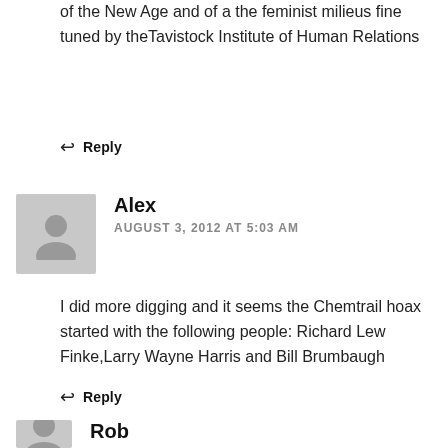of the New Age and of a the feminist milieus fine tuned by the Tavistock Institute of Human Relations
↩ Reply
Alex
AUGUST 3, 2012 AT 5:03 AM
I did more digging and it seems the Chemtrail hoax started with the following people: Richard Lew Finke,Larry Wayne Harris and Bill Brumbaugh
↩ Reply
Rob